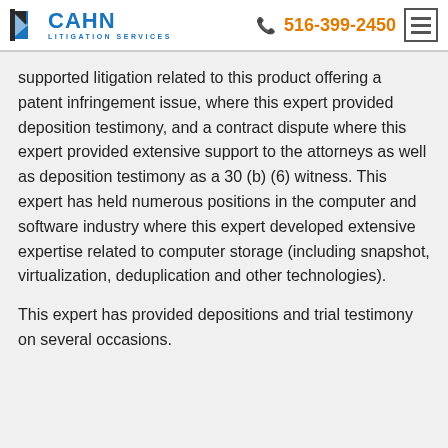CAHN LITIGATION SERVICES | 516-399-2450
supported litigation related to this product offering a patent infringement issue, where this expert provided deposition testimony, and a contract dispute where this expert provided extensive support to the attorneys as well as deposition testimony as a 30 (b) (6) witness. This expert has held numerous positions in the computer and software industry where this expert developed extensive expertise related to computer storage (including snapshot, virtualization, deduplication and other technologies).
This expert has provided depositions and trial testimony on several occasions.